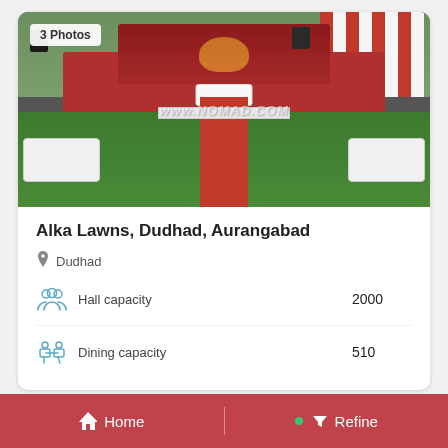[Figure (photo): Wedding venue photo showing a decorated stage with red carpet, white sofas on green lawn, red and white curtain draping, labeled '3 Photos' in top left corner. Watermark reads www.NOMAD.COM]
Alka Lawns, Dudhad, Aurangabad
Dudhad
Hall capacity   2000
Dining capacity   510
Home   Refine